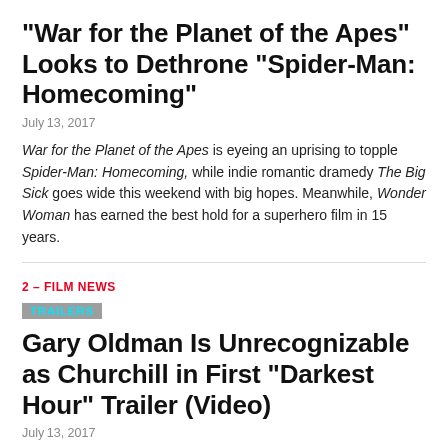“War for the Planet of the Apes” Looks to Dethrone “Spider-Man: Homecoming”
July 13, 2017
War for the Planet of the Apes is eyeing an uprising to topple Spider-Man: Homecoming, while indie romantic dramedy The Big Sick goes wide this weekend with big hopes. Meanwhile, Wonder Woman has earned the best hold for a superhero film in 15 years.
2 – FILM NEWS
TRAILERS
Gary Oldman Is Unrecognizable as Churchill in First “Darkest Hour” Trailer (Video)
July 13, 2017
Step back, Christopher Nolan, another English director is here with an